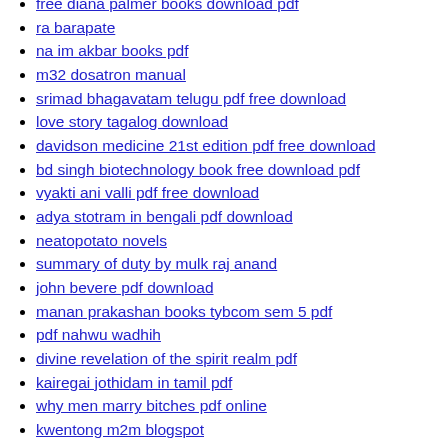free diana palmer books download pdf
ra barapate
na im akbar books pdf
m32 dosatron manual
srimad bhagavatam telugu pdf free download
love story tagalog download
davidson medicine 21st edition pdf free download
bd singh biotechnology book free download pdf
vyakti ani valli pdf free download
adya stotram in bengali pdf download
neatopotato novels
summary of duty by mulk raj anand
john bevere pdf download
manan prakashan books tybcom sem 5 pdf
pdf nahwu wadhih
divine revelation of the spirit realm pdf
kairegai jothidam in tamil pdf
why men marry bitches pdf online
kwentong m2m blogspot
atom clash of the titans worksheet answer key
ebook tagalog spg
ivan bayross pdf
town planning book by rangwala pdf download
js katre pdf
kawasaki rose instructions pdf
franklin and half off pdf free download